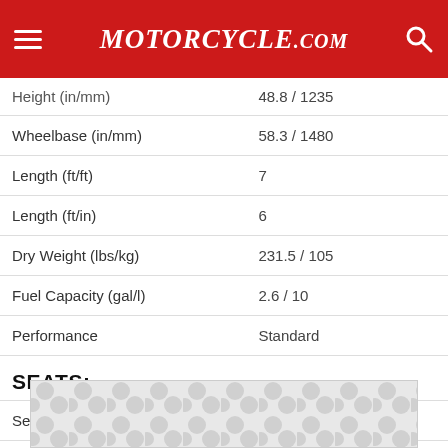Motorcycle.com
| Spec | Value |
| --- | --- |
| Height (in/mm) | 48.8 / 1235 |
| Wheelbase (in/mm) | 58.3 / 1480 |
| Length (ft/ft) | 7 |
| Length (ft/in) | 6 |
| Dry Weight (lbs/kg) | 231.5 / 105 |
| Fuel Capacity (gal/l) | 2.6 / 10 |
| Performance | Standard |
SEATS:
| Spec | Value |
| --- | --- |
| Seat Type | One-Piece |
| Adjustable | No |
| Seat Material | Vinyl |
| Seat Location | Driver |